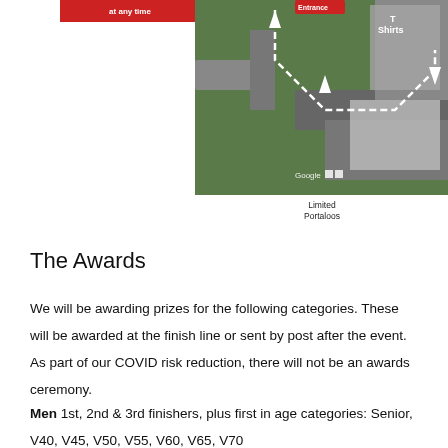[Figure (map): Aerial/satellite map with white dashed route lines, arrows indicating direction, labels including 'T Shirts', 'Google', and a small icon for Limited Portaloos. Top-left shows a red button/label 'at any time'.]
Limited Portaloos
The Awards
We will be awarding prizes for the following categories. These will be awarded at the finish line or sent by post after the event. As part of our COVID risk reduction, there will not be an awards ceremony.
Men 1st, 2nd & 3rd finishers, plus first in age categories: Senior, V40, V45, V50, V55, V60, V65, V70